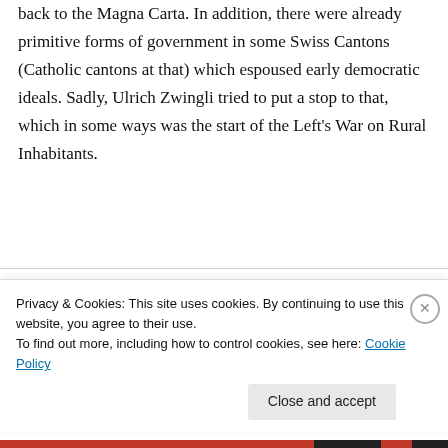back to the Magna Carta. In addition, there were already primitive forms of government in some Swiss Cantons (Catholic cantons at that) which espoused early democratic ideals. Sadly, Ulrich Zwingli tried to put a stop to that, which in some ways was the start of the Left's War on Rural Inhabitants.
T. Shaw on Monday, September 27, 2010 \PM\.\Mon\. at 5:07pm
Privacy & Cookies: This site uses cookies. By continuing to use this website, you agree to their use.
To find out more, including how to control cookies, see here: Cookie Policy